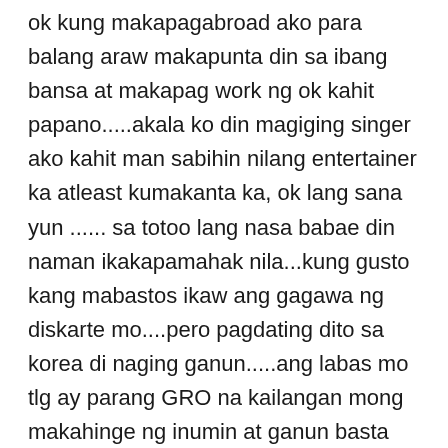ok kung makapagabroad ako para balang araw makapunta din sa ibang bansa at makapag work ng ok kahit papano.....akala ko din magiging singer ako kahit man sabihin nilang entertainer ka atleast kumakanta ka, ok lang sana yun ...... sa totoo lang nasa babae din naman ikakapamahak nila...kung gusto kang mabastos ikaw ang gagawa ng diskarte mo....pero pagdating dito sa korea di naging ganun.....ang labas mo tlg ay parang GRO na kailangan mong makahinge ng inumin at ganun basta basta humingi..kaya dinadaan ko na lang sa kwento at maawa sila sa akin at nagiging totoo sa lahat ng nakakausap ko....masakit sa akin yun dahil di ko naisip na ganun ang mapupuntahan kong trabaho....kahit sa panaginip ko di ko maisip na kailangan kong magawa yun...magagalit pa sayo ung mayari ng club kung wala kang malaking inumin at